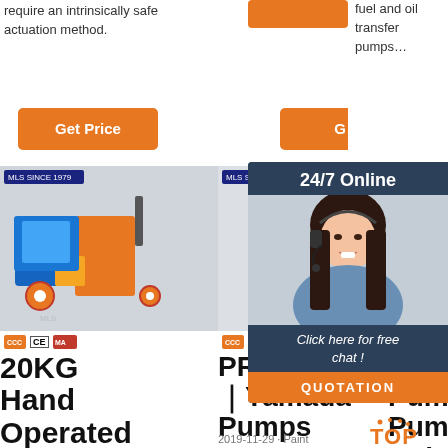require an intrinsically safe actuation method.
fuel and oil transfer pumps…
[Figure (other): Orange 'Get Price' button on left]
[Figure (other): Orange button top center]
[Figure (other): Partial orange 'G...' button on right]
[Figure (photo): Industrial plastering machine with blue and orange body on wheels, with brand logos]
[Figure (photo): Industrial orange pump/plastering machine with brand logos]
[Figure (photo): 24/7 Online chat popup with woman in headset, 'Click here for free chat!' and QUOTATION button]
20KG Hand Operated Bucket
PRODUCTS｜Yamada Pumps
2019-11-29 · Paint
Lubrication Pumps And Pump Units